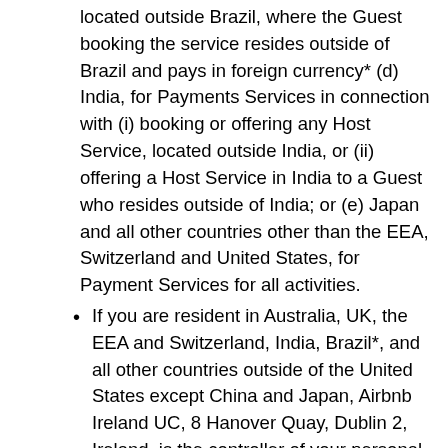located outside Brazil, where the Guest booking the service resides outside of Brazil and pays in foreign currency* (d) India, for Payments Services in connection with (i) booking or offering any Host Service, located outside India, or (ii) offering a Host Service in India to a Guest who resides outside of India; or (e) Japan and all other countries other than the EEA, Switzerland and United States, for Payment Services for all activities.
If you are resident in Australia, UK, the EEA and Switzerland, India, Brazil*, and all other countries outside of the United States except China and Japan, Airbnb Ireland UC, 8 Hanover Quay, Dublin 2, Ireland, is the controller of your personal information in relation to all activities other